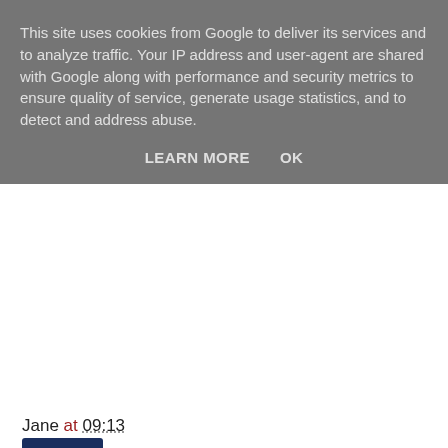This site uses cookies from Google to deliver its services and to analyze traffic. Your IP address and user-agent are shared with Google along with performance and security metrics to ensure quality of service, generate usage statistics, and to detect and address abuse.
LEARN MORE    OK
Jane at 09:13
Share
5 comments: